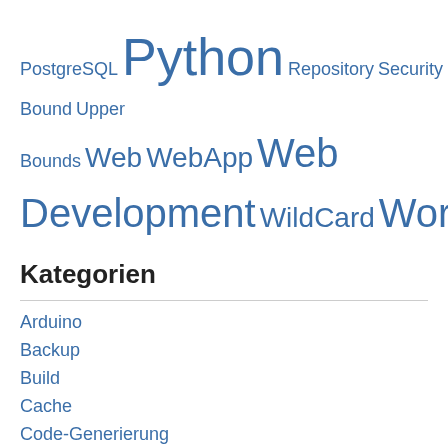PostgreSQL Python Repository Security SQL SQLAlchemy static Upper Bound Upper Bounds Web WebApp Web Development WildCard Wordpress
Kategorien
Arduino
Backup
Build
Cache
Code-Generierung
Collections
Concurrency
CriteriaAPI
DB